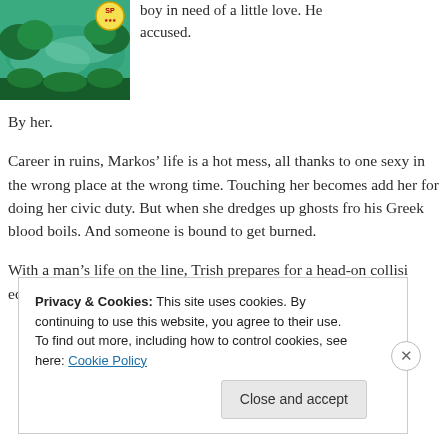[Figure (photo): Book cover photo showing a scenic lake or lagoon with turquoise water surrounded by green trees, with a small circular badge/seal in the top right corner]
boy in need of a little love. He accused.
By her.
Career in ruins, Markos’ life is a hot mess, all thanks to one sexy in the wrong place at the wrong time. Touching her becomes ad her for doing her civic duty. But when she dredges up ghosts fro his Greek blood boils. And someone is bound to get burned.
With a man’s life on the line, Trish prepares for a head-on collis edge. What does she stand to lose anyway? Her heart?
Privacy & Cookies: This site uses cookies. By continuing to use this website, you agree to their use.
To find out more, including how to control cookies, see here: Cookie Policy
Close and accept